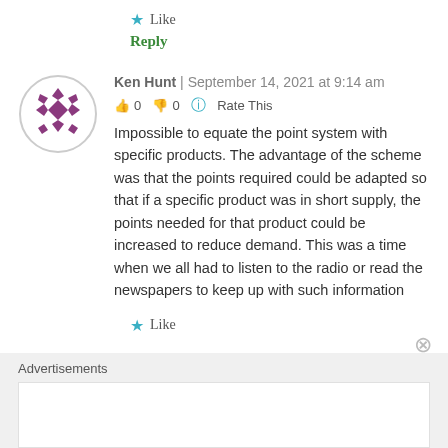★ Like
Reply
[Figure (illustration): Circular avatar with purple geometric snowflake/cross pattern on white background with gray border]
Ken Hunt | September 14, 2021 at 9:14 am
👍 0 👎 0 ℹ Rate This
Impossible to equate the point system with specific products. The advantage of the scheme was that the points required could be adapted so that if a specific product was in short supply, the points needed for that product could be increased to reduce demand. This was a time when we all had to listen to the radio or read the newspapers to keep up with such information
★ Like
Advertisements